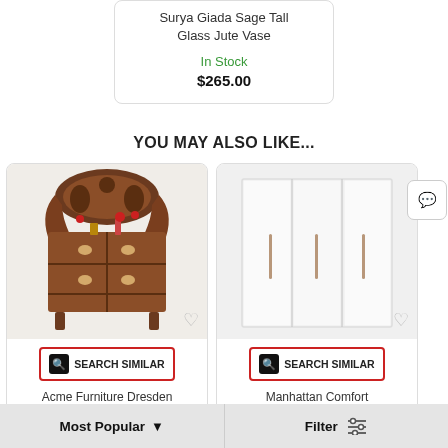Surya Giada Sage Tall Glass Jute Vase
In Stock
$265.00
YOU MAY ALSO LIKE...
[Figure (photo): Acme Furniture dresser with ornate carved dark wood headboard and mirror]
SEARCH SIMILAR
Acme Furniture Dresden Cherry Oak Dresser and
[Figure (photo): Manhattan Comfort Gramercy white wardrobe with three doors and slim handles]
SEARCH SIMILAR
Manhattan Comfort Gramercy White
Most Popular
Filter